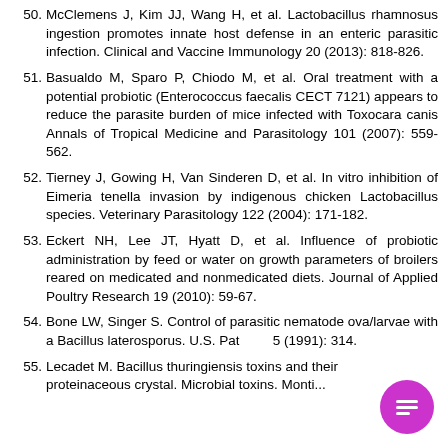50. McClemens J, Kim JJ, Wang H, et al. Lactobacillus rhamnosus ingestion promotes innate host defense in an enteric parasitic infection. Clinical and Vaccine Immunology 20 (2013): 818-826.
51. Basualdo M, Sparo P, Chiodo M, et al. Oral treatment with a potential probiotic (Enterococcus faecalis CECT 7121) appears to reduce the parasite burden of mice infected with Toxocara canis Annals of Tropical Medicine and Parasitology 101 (2007): 559-562.
52. Tierney J, Gowing H, Van Sinderen D, et al. In vitro inhibition of Eimeria tenella invasion by indigenous chicken Lactobacillus species. Veterinary Parasitology 122 (2004): 171-182.
53. Eckert NH, Lee JT, Hyatt D, et al. Influence of probiotic administration by feed or water on growth parameters of broilers reared on medicated and nonmedicated diets. Journal of Applied Poultry Research 19 (2010): 59-67.
54. Bone LW, Singer S. Control of parasitic nematode ova/larvae with a Bacillus laterosporus. U.S. Pa... (1991): 314.
55. Lecadet M. Bacillus thuringiensis toxin... proteinaceous crystal. Microbial toxins. Monti...